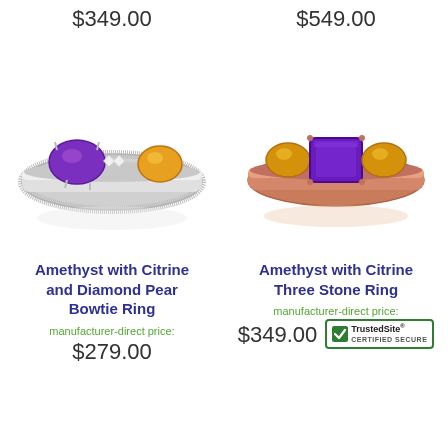$349.00
$549.00
[Figure (photo): Silver ring with purple amethyst oval stone, small diamonds, and citrine pear stones]
[Figure (photo): Rose gold ring with large purple amethyst emerald-cut center stone and yellow citrine pear side stones]
Amethyst with Citrine and Diamond Pear Bowtie Ring
Amethyst with Citrine Three Stone Ring
manufacturer-direct price:
$279.00
manufacturer-direct price:
$349.00
[Figure (logo): TrustedSite Certified Secure badge]